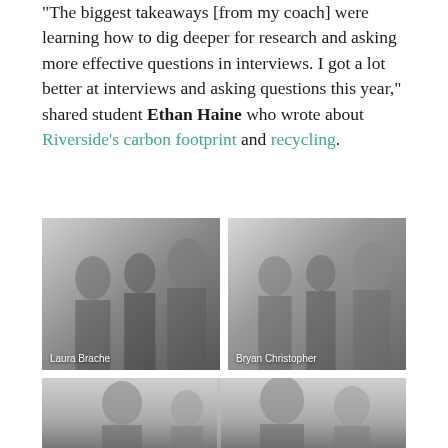“The biggest takeaways [from my coach] were learning how to dig deeper for research and asking more effective questions in interviews. I got a lot better at interviews and asking questions this year,” shared student Ethan Haine who wrote about Riverside’s carbon footprint and recycling.
[Figure (photo): Photo of award ceremony showing Laura Brache receiving a plaque, with two other people present in what appears to be an indoor event space.]
[Figure (photo): Photo of award ceremony showing Bryan Christopher receiving a plaque, with two other people present in what appears to be an indoor event space.]
[Figure (photo): Photo of award ceremony showing a group of people at an indoor event space, partially visible at the bottom of the page.]